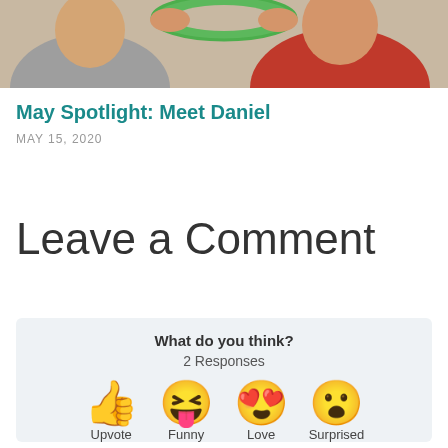[Figure (photo): Cropped photo showing two children, one in a red shirt holding a green ring/toy, and another partially visible.]
May Spotlight: Meet Daniel
MAY 15, 2020
Leave a Comment
What do you think?
2 Responses
[Figure (infographic): Four emoji reaction icons: thumbs up (Upvote), squinting face with tongue (Funny), heart eyes face (Love), surprised face (Surprised)]